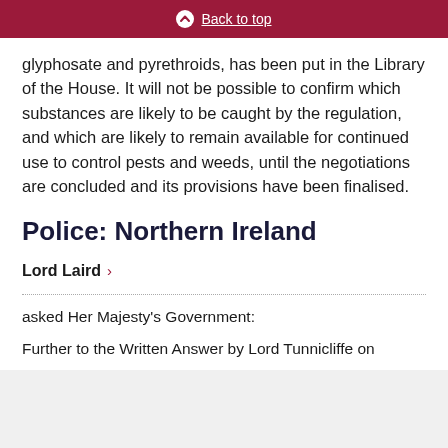Back to top
glyphosate and pyrethroids, has been put in the Library of the House. It will not be possible to confirm which substances are likely to be caught by the regulation, and which are likely to remain available for continued use to control pests and weeds, until the negotiations are concluded and its provisions have been finalised.
Police: Northern Ireland
Lord Laird >
asked Her Majesty's Government:
Further to the Written Answer by Lord Tunnicliffe on